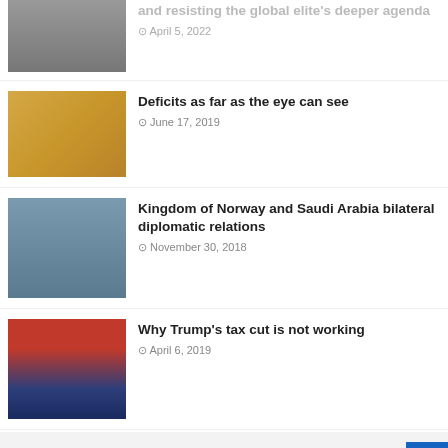and resisting the global elite's deeper agenda — April 5, 2022
Deficits as far as the eye can see — June 17, 2019
Kingdom of Norway and Saudi Arabia bilateral diplomatic relations — November 30, 2018
Why Trump's tax cut is not working — April 6, 2019
Get your t-shirt now!